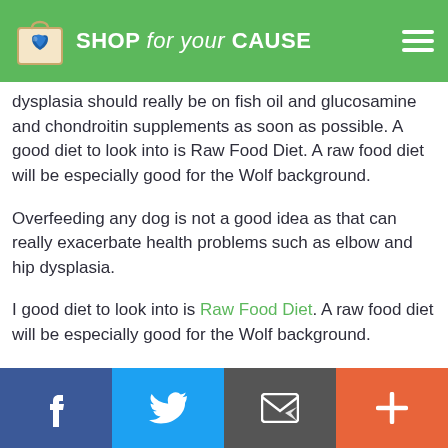SHOP for your CAUSE
dysplasia should really be on fish oil and glucosamine and chondroitin supplements as soon as possible. A good diet to look into is Raw Food Diet. A raw food diet will be especially good for the Wolf background.
Overfeeding any dog is not a good idea as that can really exacerbate health problems such as elbow and hip dysplasia.
I good diet to look into is Raw Food Diet. A raw food diet will be especially good for the Wolf background.
Facebook | Twitter | Email | +